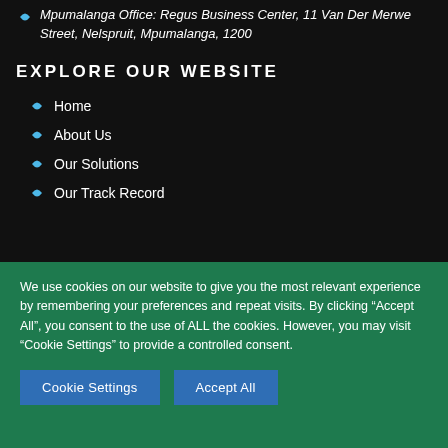Mpumalanga Office: Regus Business Center, 11 Van Der Merwe Street, Nelspruit, Mpumalanga, 1200
EXPLORE OUR WEBSITE
Home
About Us
Our Solutions
Our Track Record
We use cookies on our website to give you the most relevant experience by remembering your preferences and repeat visits. By clicking "Accept All", you consent to the use of ALL the cookies. However, you may visit "Cookie Settings" to provide a controlled consent.
Cookie Settings | Accept All